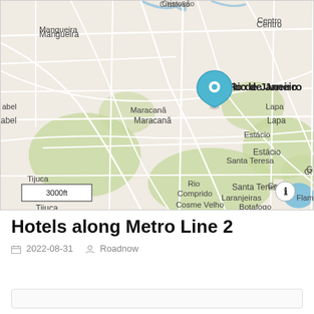[Figure (map): Street map of Rio de Janeiro showing neighborhoods including Mangueira, Maracanã, Estácio, Santa Teresa, Catete, Laranjeiras, Flamengo, Tijuca, Rio Comprido, Cosme Velho, Botafogo, Lapa, Centro. A blue location pin is placed over Rio de Janeiro label. Scale bar shows 3000ft.]
Hotels along Metro Line 2
2022-08-31   Roadnow